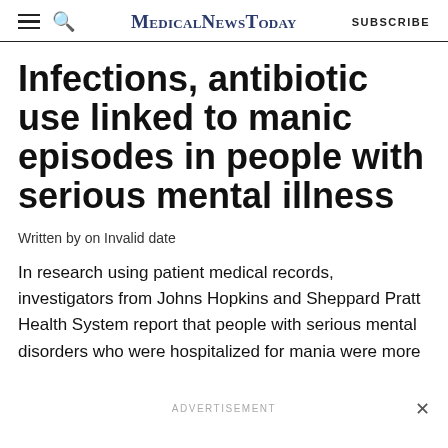MedicalNewsToday  SUBSCRIBE
Infections, antibiotic use linked to manic episodes in people with serious mental illness
Written by on Invalid date
In research using patient medical records, investigators from Johns Hopkins and Sheppard Pratt Health System report that people with serious mental disorders who were hospitalized for mania were more
ADVERTISEMENT